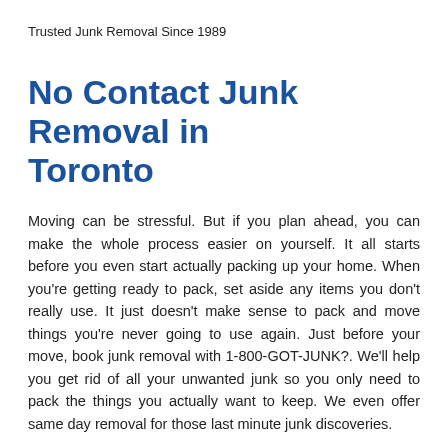Trusted Junk Removal Since 1989
No Contact Junk Removal in Toronto
Moving can be stressful. But if you plan ahead, you can make the whole process easier on yourself. It all starts before you even start actually packing up your home. When you're getting ready to pack, set aside any items you don't really use. It just doesn't make sense to pack and move things you're never going to use again. Just before your move, book junk removal with 1-800-GOT-JUNK?. We'll help you get rid of all your unwanted junk so you only need to pack the things you actually want to keep. We even offer same day removal for those last minute junk discoveries.